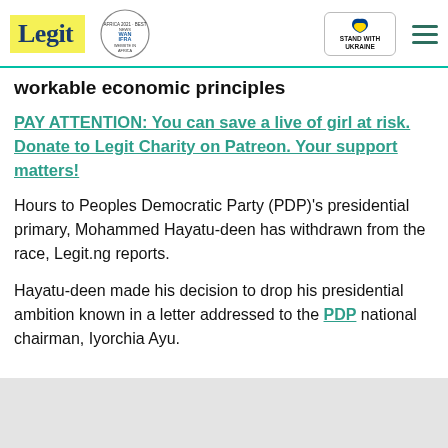Legit | WAN IFRA 2021 Best News Website in Africa | Stand With Ukraine
workable economic principles
PAY ATTENTION: You can save a live of girl at risk. Donate to Legit Charity on Patreon. Your support matters!
Hours to Peoples Democratic Party (PDP)'s presidential primary, Mohammed Hayatu-deen has withdrawn from the race, Legit.ng reports.
Hayatu-deen made his decision to drop his presidential ambition known in a letter addressed to the PDP national chairman, Iyorchia Ayu.